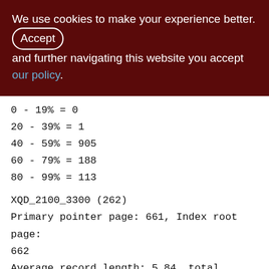We use cookies to make your experience better. By accepting and further navigating this website you accept our policy.
0 - 19% = 0
20 - 39% = 1
40 - 59% = 905
60 - 79% = 188
80 - 99% = 113
XQD_2100_3300 (262)
Primary pointer page: 661, Index root page: 662
Average record length: 5.84, total records: 185798
Average version length: 68.50, total